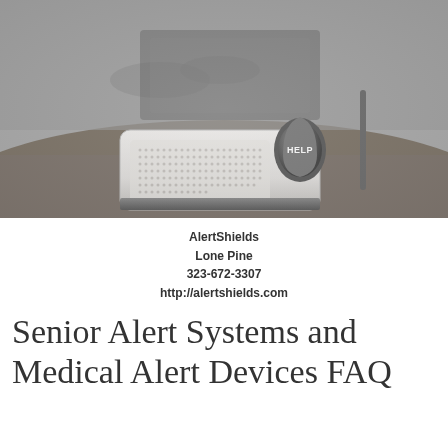[Figure (photo): Black and white photo of a medical alert device (base unit with a HELP button) sitting on a table, with a person's hands visible in the background near a laptop.]
AlertShields
Lone Pine
323-672-3307
http://alertshields.com
Senior Alert Systems and Medical Alert Devices FAQ